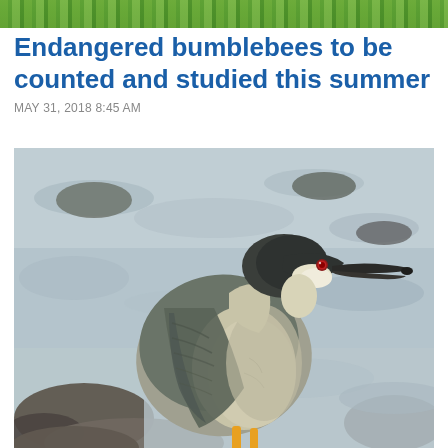[Figure (photo): Decorative horizontal banner strip at top of article page, showing a narrow horizontal strip of green foliage/nature imagery]
Endangered bumblebees to be counted and studied this summer
MAY 31, 2018 8:45 AM
[Figure (photo): A black-crowned night heron bird perched on rocks near water. The bird has a dark grey/black cap, grey-blue wings, pale grey/cream breast, red eye, and yellow legs. It is photographed in profile facing right, with blurred water and rocks in the background.]